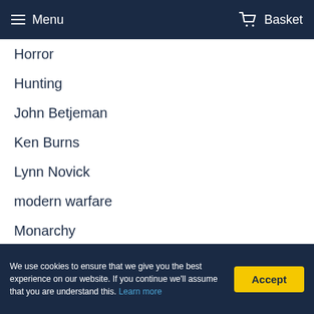Menu   Basket
Horror
Hunting
John Betjeman
Ken Burns
Lynn Novick
modern warfare
Monarchy
MovieMail
Natural World
New Release
News
Newsreels
We use cookies to ensure that we give you the best experience on our website. If you continue we'll assume that you are understand this. Learn more